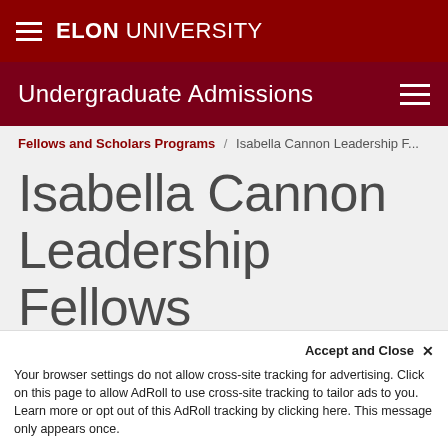ELON UNIVERSITY
Undergraduate Admissions
Fellows and Scholars Programs / Isabella Cannon Leadership F...
Isabella Cannon Leadership Fellows
+ PAGE MENU
Accept and Close ✕
Your browser settings do not allow cross-site tracking for advertising. Click on this page to allow AdRoll to use cross-site tracking to tailor ads to you. Learn more or opt out of this AdRoll tracking by clicking here. This message only appears once.